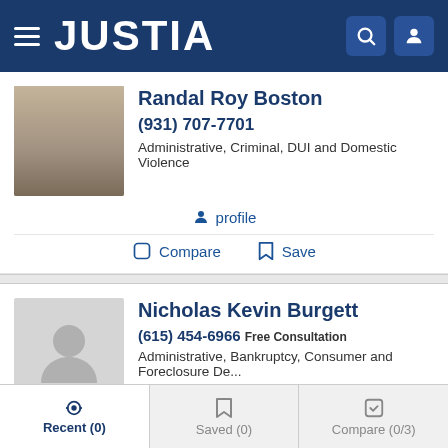[Figure (screenshot): Justia lawyer directory mobile screenshot showing navigation bar and two attorney listings]
JUSTIA
Randal Roy Boston
(931) 707-7701
Administrative, Criminal, DUI and Domestic Violence
profile
Compare
Save
Nicholas Kevin Burgett
(615) 454-6966 Free Consultation
Administrative, Bankruptcy, Consumer and Foreclosure De...
website
profile
email
Recent (0)
Saved (0)
Compare (0/3)